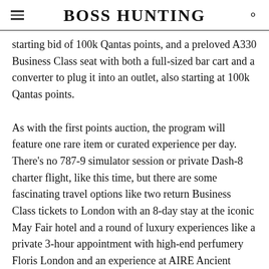BOSS HUNTING
starting bid of 100k Qantas points, and a preloved A330 Business Class seat with both a full-sized bar cart and a converter to plug it into an outlet, also starting at 100k Qantas points.
As with the first points auction, the program will feature one rare item or curated experience per day. There's no 787-9 simulator session or private Dash-8 charter flight, like this time, but there are some fascinating travel options like two return Business Class tickets to London with an 8-day stay at the iconic May Fair hotel and a round of luxury experiences like a private 3-hour appointment with high-end perfumery Floris London and an experience at AIRE Ancient Baths. That particular gem comes with a starting bid of 500k Qantas